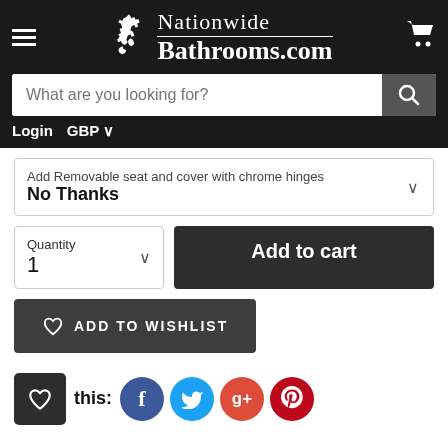[Figure (screenshot): Nationwide Bathrooms website header with logo, search bar, login and currency controls]
Add Removable seat and cover with chrome hinges
No Thanks
Quantity
1
Add to cart
ADD TO WISHLIST
this:
[Figure (logo): Social share icons: Facebook, Twitter, Google+, Pinterest]